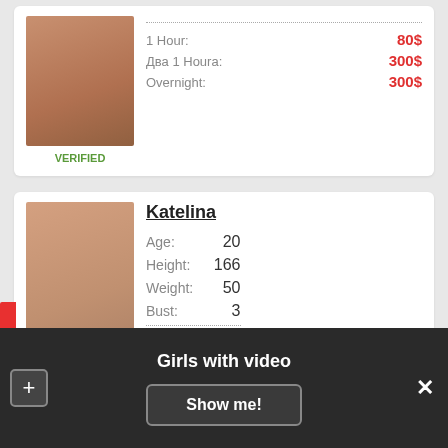[Figure (photo): Photo of a person in the top listing card]
VERIFIED
1 Hour: 80$
Два 1 Houra: 300$
Overnight: 300$
[Figure (photo): Photo of Katelina in the bottom listing card]
Katelina
Age: 20
Height: 166
Weight: 50
Bust: 3
1 Hour: 40$
2 1 Houra: +50$
Girls with video
Show me!